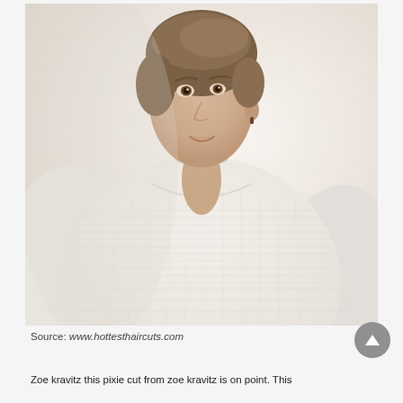[Figure (photo): A woman with a short pixie haircut wearing a white/cream knit sweater, photographed against a light background. The photo has a soft, high-key aesthetic.]
Source: www.hottesthaircuts.com
Zoe kravitz this pixie cut from zoe kravitz is on point. This